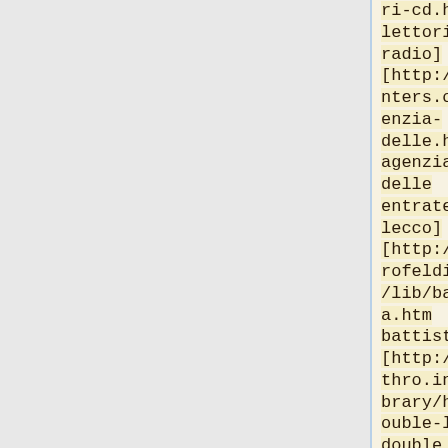ri-cd.htm lettori cd e radio] [http://nobinters.org/agenzia-delle.htm agenzia delle entrate lecco] [http://bloprofeldi.info/lib/battista.htm battista] [http://ashythro.info/library/html/double-layer/ double layer portatili]